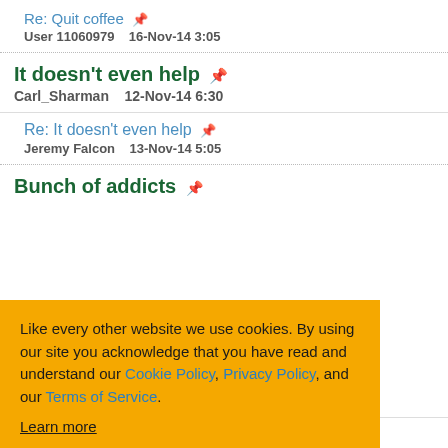Re: Quit coffee — User 11060979   16-Nov-14 3:05
It doesn't even help — Carl_Sharman   12-Nov-14 6:30
Re: It doesn't even help — Jeremy Falcon   13-Nov-14 5:05
Bunch of addicts
Like every other website we use cookies. By using our site you acknowledge that you have read and understand our Cookie Policy, Privacy Policy, and our Terms of Service. Learn more
Re: Bunch of addicts